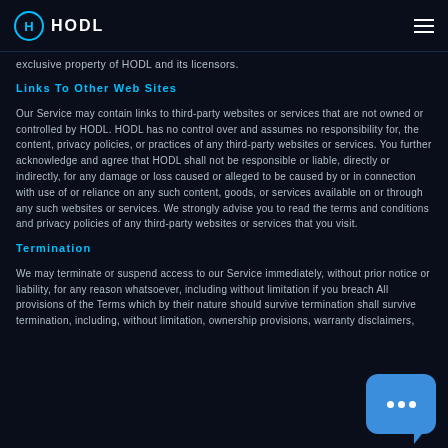HODL
exclusive property of HODL and its licensors.
Links To Other Web Sites
Our Service may contain links to third-party websites or services that are not owned or controlled by HODL. HODL has no control over and assumes no responsibility for, the content, privacy policies, or practices of any third-party websites or services. You further acknowledge and agree that HODL shall not be responsible or liable, directly or indirectly, for any damage or loss caused or alleged to be caused by or in connection with use of or reliance on any such content, goods, or services available on or through any such websites or services. We strongly advise you to read the terms and conditions and privacy policies of any third-party websites or services that you visit.
Termination
We may terminate or suspend access to our Service immediately, without prior notice or liability, for any reason whatsoever, including without limitation if you breach All provisions of the Terms which by their nature should survive termination shall survive termination, including, without limitation, ownership provisions, warranty disclaimers,